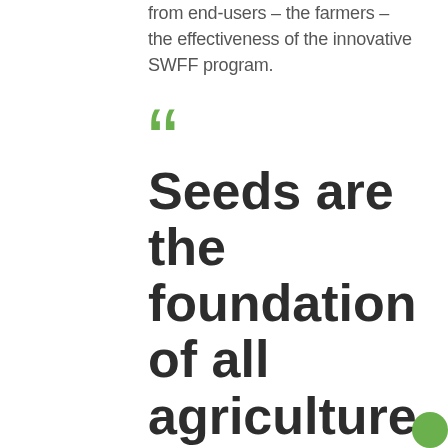from end-users – the farmers – the effectiveness of the innovative SWFF program.
"Seeds are the foundation of all agriculture, and Nylander